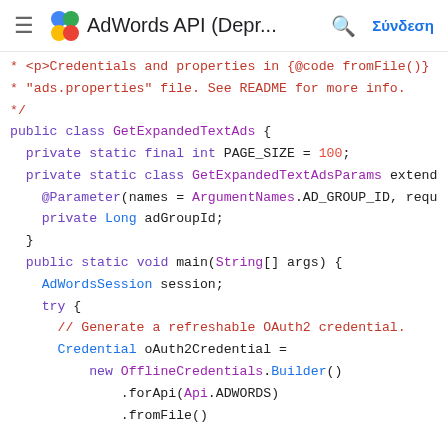AdWords API (Depr... | Σύνδεση
[Figure (screenshot): Java source code showing GetExpandedTextAds class with PAGE_SIZE constant, inner class GetExpandedTextAdsParams, and main method with AdWordsSession and OAuth2 credential setup.]